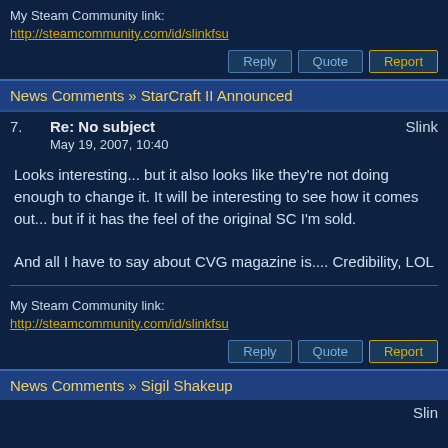My Steam Community link: http://steamcommunity.com/id/slinkfsu
News Comments » StarCraft II Announced
7. Re: No subject  Slink  May 19, 2007, 10:40
Looks interesting... but it also looks like they're not doing enough to change it. It will be interesting to see how it comes out... but if it has the feel of the original SC I'm sold.

And all I have to say about CVG magazine is.... Credibility, LOL
My Steam Community link: http://steamcommunity.com/id/slinkfsu
News Comments » Sigil Shakeup